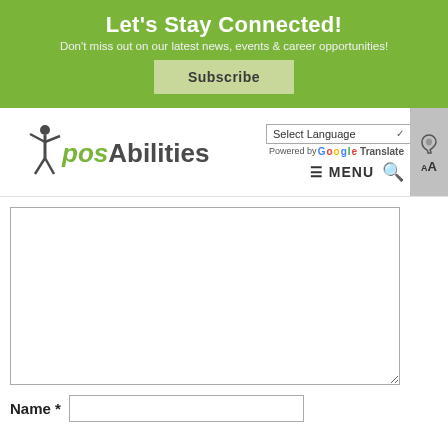Let's Stay Connected!
Don't miss out on our latest news, events & career opportunities!
Subscribe
[Figure (logo): posAbilities logo with a jumping figure silhouette]
Select Language
Powered by Google Translate
≡ MENU
[Figure (other): Accessibility icons: hearing/audio and text size AA]
Name *